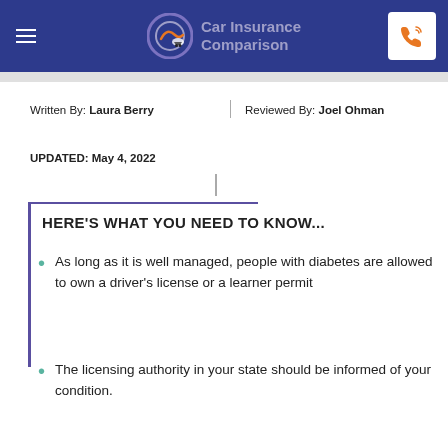Car Insurance Comparison
Written By: Laura Berry
Reviewed By: Joel Ohman
UPDATED: May 4, 2022
HERE'S WHAT YOU NEED TO KNOW...
As long as it is well managed, people with diabetes are allowed to own a driver's license or a learner permit
The licensing authority in your state should be informed of your condition.